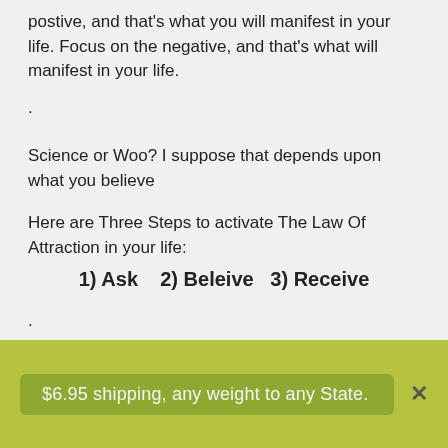postive, and that's what you will manifest in your life. Focus on the negative, and that's what will manifest in your life.
.
Science or Woo? I suppose that depends upon what you believe
Here are Three Steps to activate The Law Of Attraction in your life:
1) Ask    2) Beleive   3) Receive
.
...
$6.95 shipping, any weight to any State.